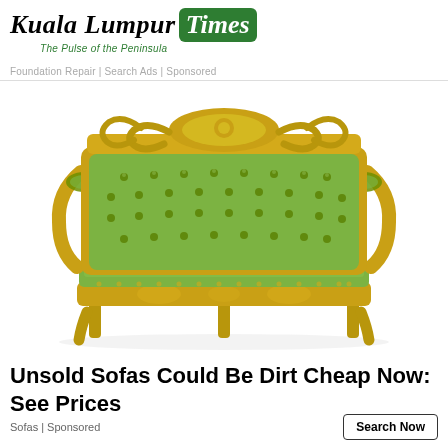Kuala Lumpur Times — The Pulse of the Peninsula
Foundation Repair | Search Ads | Sponsored
[Figure (photo): An ornate baroque-style sofa with gilded gold carved wooden frame and green tufted velvet upholstery, photographed on white background.]
Unsold Sofas Could Be Dirt Cheap Now: See Prices
Sofas | Sponsored
Search Now